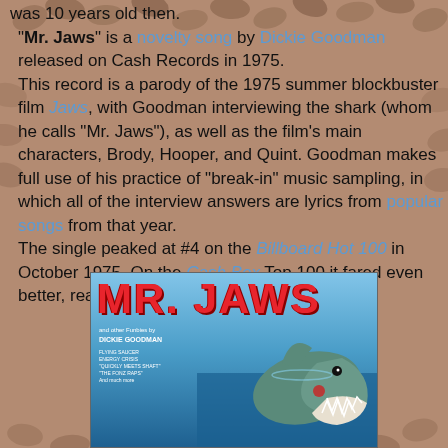was 10 years old then.
"Mr. Jaws" is a novelty song by Dickie Goodman released on Cash Records in 1975. This record is a parody of the 1975 summer blockbuster film Jaws, with Goodman interviewing the shark (whom he calls "Mr. Jaws"), as well as the film's main characters, Brody, Hooper, and Quint. Goodman makes full use of his practice of "break-in" music sampling, in which all of the interview answers are lyrics from popular songs from that year. The single peaked at #4 on the Billboard Hot 100 in October 1975. On the Cash Box Top 100 it fared even better, reaching #1.
[Figure (photo): Album cover of Mr. Jaws by Dickie Goodman. Red bold text 'MR. JAWS' at top, blue ocean background with a shark emerging from the water with open jaws, small white text with tracklist on left side.]